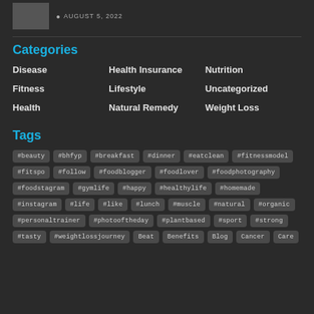AUGUST 5, 2022
Categories
Disease
Health Insurance
Nutrition
Fitness
Lifestyle
Uncategorized
Health
Natural Remedy
Weight Loss
Tags
#beauty
#bhfyp
#breakfast
#dinner
#eatclean
#fitnessmodel
#fitspo
#follow
#foodblogger
#foodlover
#foodphotography
#foodstagram
#gymlife
#happy
#healthylife
#homemade
#instagram
#life
#like
#lunch
#muscle
#natural
#organic
#personaltrainer
#photooftheday
#plantbased
#sport
#strong
#tasty
#weightlossjourney
Beat
Benefits
Blog
Cancer
Care